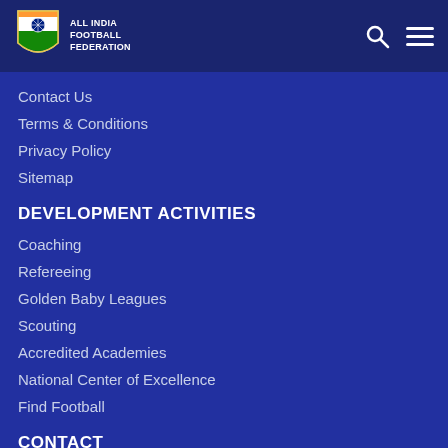All India Football Federation
Contact Us
Terms & Conditions
Privacy Policy
Sitemap
DEVELOPMENT ACTIVITIES
Coaching
Refereeing
Golden Baby Leagues
Scouting
Accredited Academies
National Center of Excellence
Find Football
CONTACT
All India Football Federation,